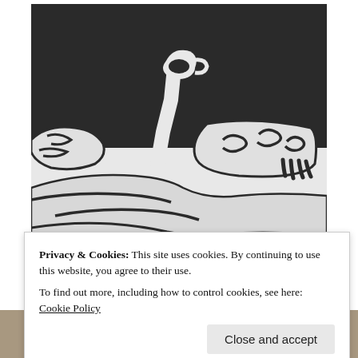[Figure (illustration): Black and white linocut or woodcut style illustration showing a figure lying in bed, with one arm raised holding a cup. The background is dark/black with bold white cut lines forming blankets, pillows, and the reclining figure.]
Privacy & Cookies: This site uses cookies. By continuing to use this website, you agree to their use.
To find out more, including how to control cookies, see here: Cookie Policy
Close and accept
[Figure (photo): Partial photo strip visible at the bottom of the page, showing what appears to be a person, mostly cut off.]